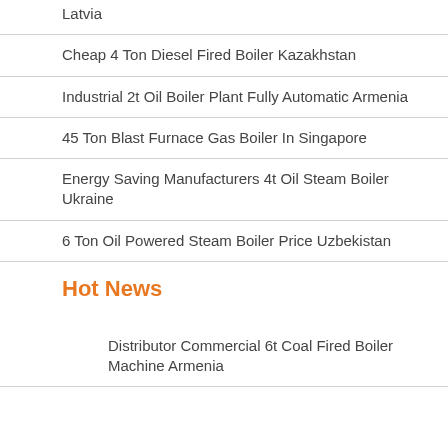Latvia
Cheap 4 Ton Diesel Fired Boiler Kazakhstan
Industrial 2t Oil Boiler Plant Fully Automatic Armenia
45 Ton Blast Furnace Gas Boiler In Singapore
Energy Saving Manufacturers 4t Oil Steam Boiler Ukraine
6 Ton Oil Powered Steam Boiler Price Uzbekistan
Hot News
Distributor Commercial 6t Coal Fired Boiler Machine Armenia